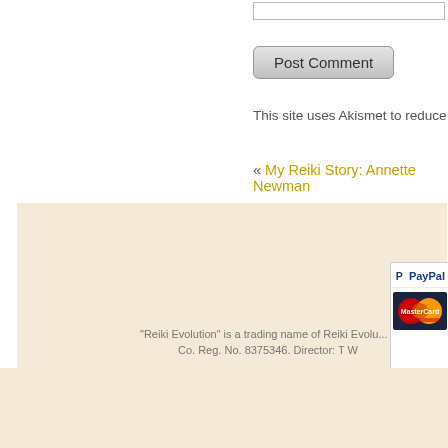Post Comment
This site uses Akismet to reduce spam.
« My Reiki Story: Annette Newman
[Figure (logo): PayPal payment logo with MasterCard credit card logo]
"Reiki Evolution" is a trading name of Reiki Evolution Co. Reg. No. 8375346. Director: T W